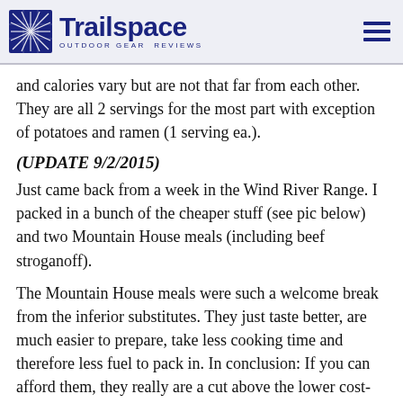Trailspace OUTDOOR GEAR REVIEWS
and calories vary but are not that far from each other. They are all 2 servings for the most part with exception of potatoes and ramen (1 serving ea.).
(UPDATE 9/2/2015)
Just came back from a week in the Wind River Range. I packed in a bunch of the cheaper stuff (see pic below) and two Mountain House meals (including beef stroganoff).
The Mountain House meals were such a welcome break from the inferior substitutes. They just taste better, are much easier to prepare, take less cooking time and therefore less fuel to pack in. In conclusion: If you can afford them, they really are a cut above the lower cost-cost alternatives. I stand corrected.